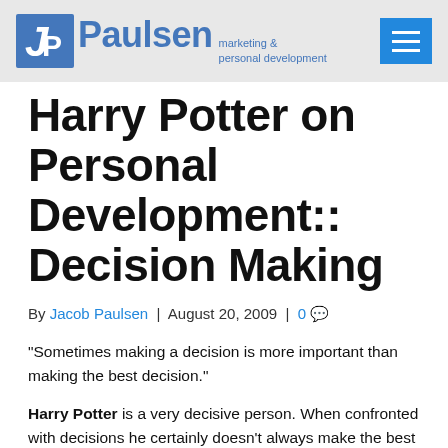JP Paulsen marketing & personal development
Harry Potter on Personal Development:: Decision Making
By Jacob Paulsen | August 20, 2009 | 0
“Sometimes making a decision is more important than making the best decision.”
Harry Potter is a very decisive person. When confronted with decisions he certainly doesn’t always make the best one but I would argue that by making one right away vs weighing it out in